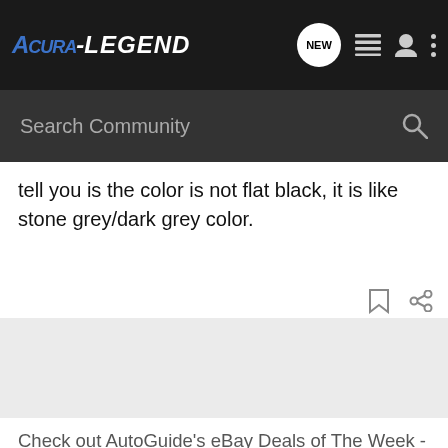Acura-Legend — Search Community (navigation bar)
tell you is the color is not flat black, it is like stone grey/dark grey color.
[Figure (screenshot): eBay ad with AutoGuide logo, label 'Ad', and text: Check out AutoGuide's eBay Deals of The Week - Updated every week. This week's addition: 42% OFF! an Android vehicle monitor with dash cam and OBD2 scanner. And yes, it's CarPlay compatible.]
[Figure (screenshot): RChilli Inc recruitment ad: Find out what's hot in the recruitment market. Download RChilli Global Recruitment Report.]